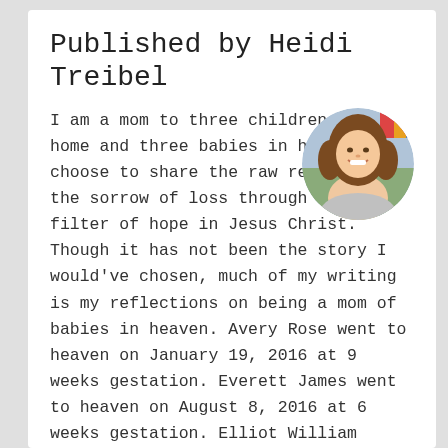Published by Heidi Treibel
[Figure (photo): Circular profile photo of a smiling woman with long brown hair, wearing a colorful top, photographed outdoors.]
I am a mom to three children in my home and three babies in heaven. I choose to share the raw reality of the sorrow of loss through the filter of hope in Jesus Christ. Though it has not been the story I would've chosen, much of my writing is my reflections on being a mom of babies in heaven. Avery Rose went to heaven on January 19, 2016 at 9 weeks gestation. Everett James went to heaven on August 8, 2016 at 6 weeks gestation. Elliot William shined in our lives during